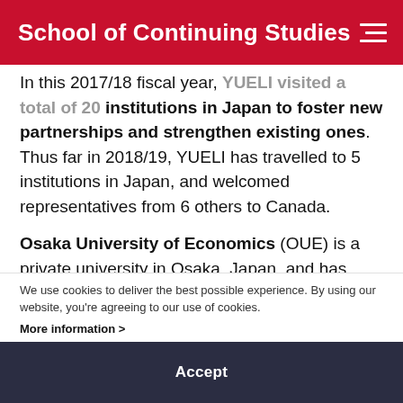School of Continuing Studies
In this 2017/18 fiscal year, YUELI visited a total of 20 institutions in Japan to foster new partnerships and strengthen existing ones. Thus far in 2018/19, YUELI has travelled to 5 institutions in Japan, and welcomed representatives from 6 others to Canada.
Osaka University of Economics (OUE) is a private university in Osaka, Japan, and has been a partner with YUELI since 2014. OUE enrols a group of students in the YUELI Summer Immersion Program each year, which is a three-week program that takes place twice
We use cookies to deliver the best possible experience. By using our website, you're agreeing to our use of cookies.
More information >
Accept